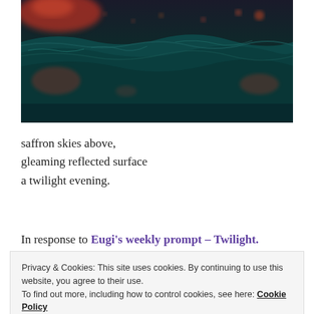[Figure (photo): Dark ocean waves with teal water and red/orange bokeh lights reflected on the surface, twilight scene]
saffron skies above,
gleaming reflected surface
a twilight evening.
In response to Eugi’s weekly prompt – Twilight.
Privacy & Cookies: This site uses cookies. By continuing to use this website, you agree to their use.
To find out more, including how to control cookies, see here: Cookie Policy
Close and accept